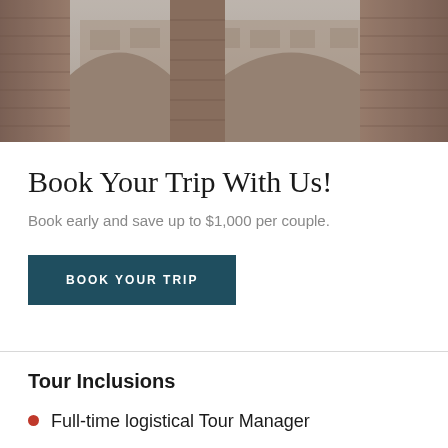[Figure (photo): Black and white / sepia toned photograph of ancient Roman ruins, showing arched stone and brick columns, with the interior of what appears to be the Colosseum in the background.]
Book Your Trip With Us!
Book early and save up to $1,000 per couple.
BOOK YOUR TRIP
Tour Inclusions
Full-time logistical Tour Manager